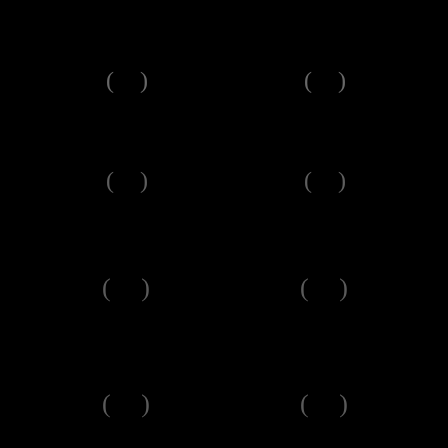[Figure (other): Black background with eight pairs of parentheses arranged in a 2x4 grid pattern. Each pair shows ( ) in gray/dark color. The pairs are positioned at four vertical levels and two horizontal positions (left-center and right-center), creating a symmetric matrix-like layout.]